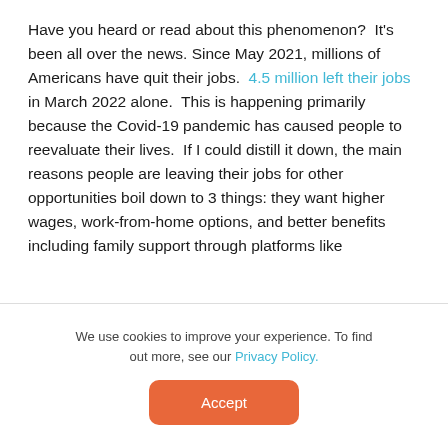Have you heard or read about this phenomenon?  It's been all over the news. Since May 2021, millions of Americans have quit their jobs.  4.5 million left their jobs in March 2022 alone.  This is happening primarily because the Covid-19 pandemic has caused people to reevaluate their lives.  If I could distill it down, the main reasons people are leaving their jobs for other opportunities boil down to 3 things: they want higher wages, work-from-home options, and better benefits including family support through platforms like
We use cookies to improve your experience. To find out more, see our Privacy Policy.
Accept